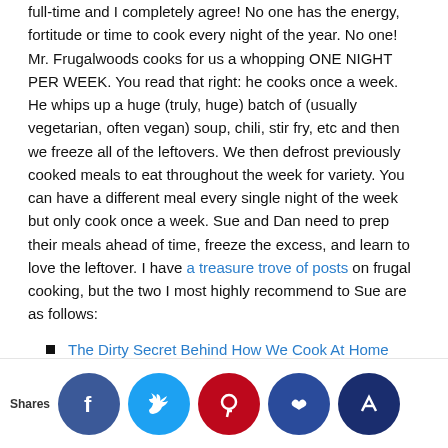full-time and I completely agree! No one has the energy, fortitude or time to cook every night of the year. No one! Mr. Frugalwoods cooks for us a whopping ONE NIGHT PER WEEK. You read that right: he cooks once a week. He whips up a huge (truly, huge) batch of (usually vegetarian, often vegan) soup, chili, stir fry, etc and then we freeze all of the leftovers. We then defrost previously cooked meals to eat throughout the week for variety. You can have a different meal every single night of the week but only cook once a week. Sue and Dan need to prep their meals ahead of time, freeze the excess, and learn to love the leftover. I have a treasure trove of posts on frugal cooking, but the two I most highly recommend to Sue are as follows:
The Dirty Secret Behind How We Cook At Home
Our Complete Guide To Frugal, Healthy Eating
As far as vegetarian and vegan cooking goes, we find that this is cheaper than eating meat! Mr. FW and I do still eat meat on occasion, but so much cheaper now. I don't think, Sue, that in general, you want to start with an inexpensive protein varied be...